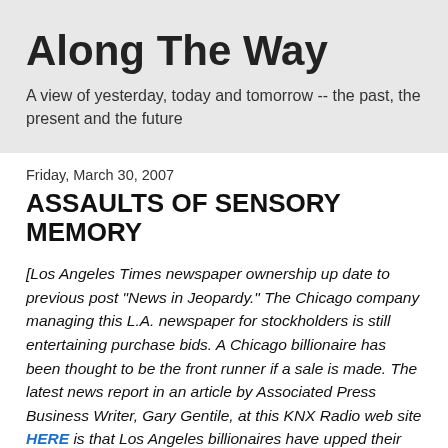Along The Way
A view of yesterday, today and tomorrow -- the past, the present and the future
Friday, March 30, 2007
ASSAULTS OF SENSORY MEMORY
[Los Angeles Times newspaper ownership up date to previous post "News in Jeopardy." The Chicago company managing this L.A. newspaper for stockholders is still entertaining purchase bids. A Chicago billionaire has been thought to be the front runner if a sale is made. The latest news report in an article by Associated Press Business Writer, Gary Gentile, at this KNX Radio web site HERE is that Los Angeles billionaires have upped their bid for the Los Angeles Times.
A related article by Howard Kurtz, Staff Writer at the